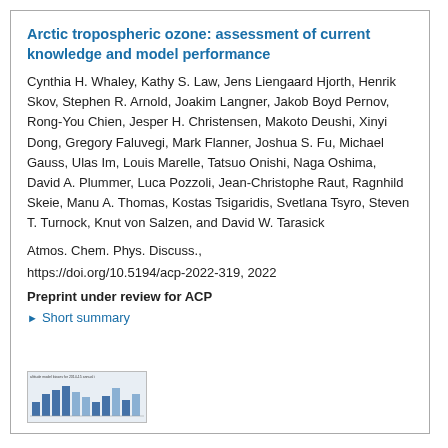Arctic tropospheric ozone: assessment of current knowledge and model performance
Cynthia H. Whaley, Kathy S. Law, Jens Liengaard Hjorth, Henrik Skov, Stephen R. Arnold, Joakim Langner, Jakob Boyd Pernov, Rong-You Chien, Jesper H. Christensen, Makoto Deushi, Xinyi Dong, Gregory Faluvegi, Mark Flanner, Joshua S. Fu, Michael Gauss, Ulas Im, Louis Marelle, Tatsuo Onishi, Naga Oshima, David A. Plummer, Luca Pozzoli, Jean-Christophe Raut, Ragnhild Skeie, Manu A. Thomas, Kostas Tsigaridis, Svetlana Tsyro, Steven T. Turnock, Knut von Salzen, and David W. Tarasick
Atmos. Chem. Phys. Discuss.,
https://doi.org/10.5194/acp-2022-319, 2022
Preprint under review for ACP
▶ Short summary
[Figure (other): Small thumbnail image showing bar chart figure from the paper]